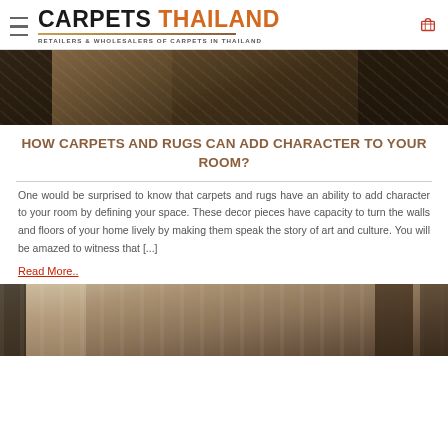CARPETS THAILAND — RETAILERS & WHOLESALERS OF CARPETS IN THAILAND
[Figure (photo): Interior room photo showing a carpet/rug on the floor with dark furniture and decorative elements]
HOW CARPETS AND RUGS CAN ADD CHARACTER TO YOUR ROOM?
One would be surprised to know that carpets and rugs have an ability to add character to your room by defining your space. These decor pieces have capacity to turn the walls and floors of your home lively by making them speak the story of art and culture. You will be amazed to witness that [...]
Read More..
[Figure (photo): Interior room photo showing wooden paneled walls with curtains and artwork]